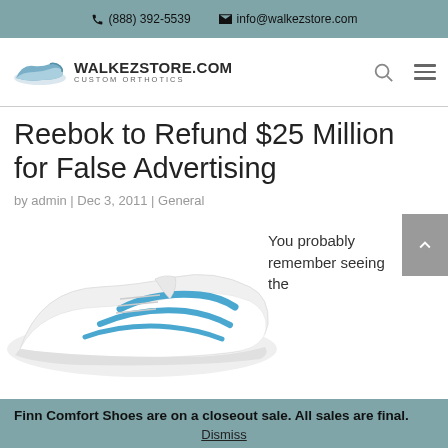(888) 392-5539  info@walkezstore.com
[Figure (logo): WalkezStore.com Custom Orthotics logo with shoe icon]
Reebok to Refund $25 Million for False Advertising
by admin | Dec 3, 2011 | General
[Figure (photo): White and blue Reebok athletic shoe photograph]
You probably remember seeing the
Finn Comfort Shoes are on a closeout sale. All sales are final.
Dismiss